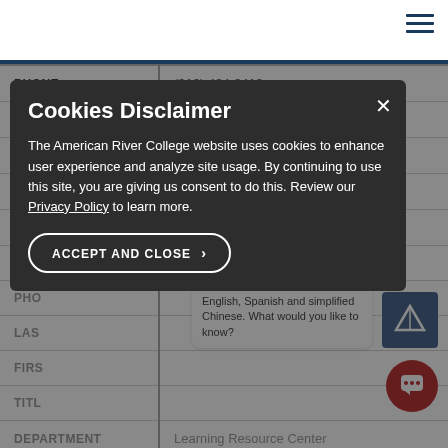American River College directory page with hamburger menu icon
| Field | Value |
| --- | --- |
| PHONE | (916) 484-8412 |
| EMAIL | BoothD@arc.losrios.edu |
| LAST NAME | Brunton |
| FIRST NAME | Thomas |
| TITLE | ...chnician |
| DEPARTMENT |  |
| PHO |  |
| LAST |  |
| FIRS |  |
| TITL |  |
| DEPARTMENT | Learning Resource Center |
Cookies Disclaimer

The American River College website uses cookies to enhance user experience and analyze site usage. By continuing to use this site, you are giving us consent to do this. Review our Privacy Policy to learn more.
ACCEPT AND CLOSE